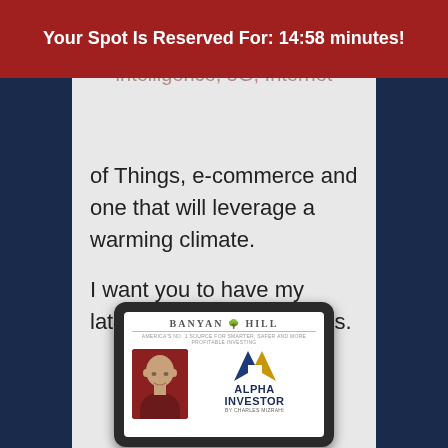Your Spot Is Reserved For: 14:58 minutes!
of Things, e-commerce and one that will leverage a warming climate.
I want you to have my latest research at all times.
[Figure (photo): Tablet device showing Banyan Hill Alpha Investor newsletter by Charles Mizrahi, with photo of a bald man in dark red shirt on the left and Alpha Investor logo on the right]